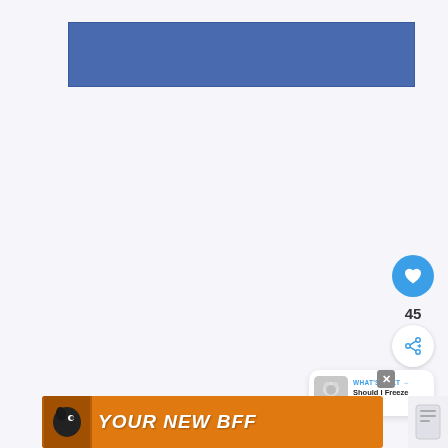[Figure (other): Blue rectangular banner/header image placeholder]
[Figure (other): Heart/like button (blue circle with white heart icon) showing 45 likes, and a share button (white circle with share icon)]
45
[Figure (other): What's Next card showing thumbnail of a husky dog and text: WHAT'S NEXT → Should I Freeze Half-...]
[Figure (other): Advertisement banner showing a black dog and text YOUR NEW BFF on orange background with close button]